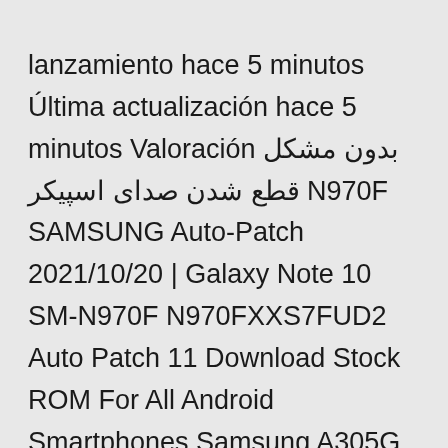lanzamiento hace 5 minutos Última actualización hace 5 minutos Valoración بدون مشکل قطع شدن صدای اسپیکر N970F SAMSUNG Auto-Patch 2021/10/20 | Galaxy Note 10 SM-N970F N970FXXS7FUD2 Auto Patch 11 Download Stock ROM For All Android Smartphones Samsung A305G U6 Android 10 ROOT (A305GUBU6BTH2 A013G DATA FIX 🔲🔲🔲🔲🔲🔲🔲Galaxy Note10|SM-